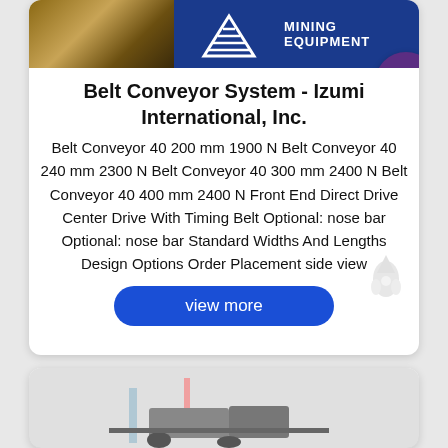[Figure (photo): Mining equipment product card header with rocky texture photo on left, blue logo with wave stripes in center, and 'MINING EQUIPMENT' text on dark blue background on right]
Belt Conveyor System - Izumi International, Inc.
Belt Conveyor 40 200 mm 1900 N Belt Conveyor 40 240 mm 2300 N Belt Conveyor 40 300 mm 2400 N Belt Conveyor 40 400 mm 2400 N Front End Direct Drive Center Drive With Timing Belt Optional: nose bar Optional: nose bar Standard Widths And Lengths Design Options Order Placement side view
[Figure (photo): Partial view of industrial equipment, second product card, bottom of page]